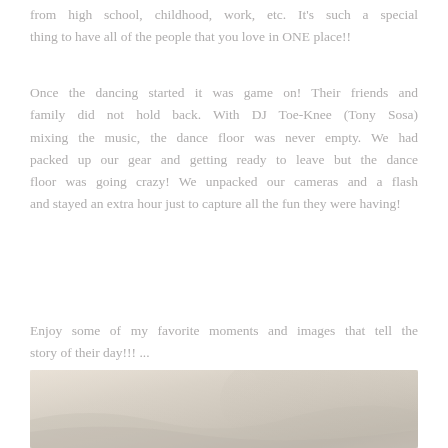from high school, childhood, work, etc. It's such a special thing to have all of the people that you love in ONE place!!
Once the dancing started it was game on! Their friends and family did not hold back. With DJ Toe-Knee (Tony Sosa) mixing the music, the dance floor was never empty. We had packed up our gear and getting ready to leave but the dance floor was going crazy! We unpacked our cameras and a flash and stayed an extra hour just to capture all the fun they were having!
Enjoy some of my favorite moments and images that tell the story of their day!!! ...
[Figure (photo): Partial view of a soft-focus photograph showing cream/beige fabric or draped cloth in warm neutral tones]